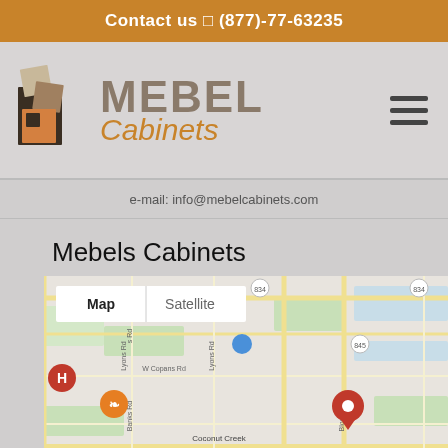Contact us ☐ (877)-77-63235
[Figure (logo): Mebel Cabinets logo with geometric square tiles and brand name]
e-mail: info@mebelcabinets.com
Mebels Cabinets
[Figure (map): Google Map showing Coconut Creek area with Map/Satellite toggle, roads labeled 834, 845, Lyons Rd, W Copans Rd, Banks Rd, Blount Rd, Coconut Creek Pkwy, and a red location pin marker]